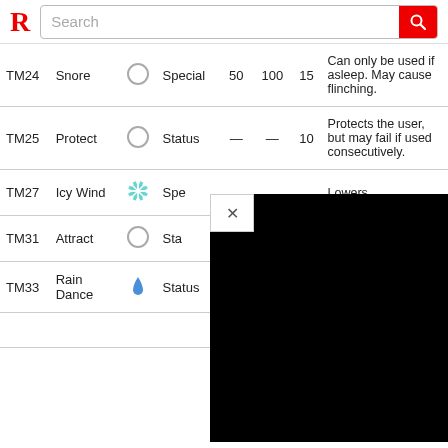R Search
|  | Name | Type | Cat. | Pow. | Acc. | PP | Effect |
| --- | --- | --- | --- | --- | --- | --- | --- |
| TM24 | Snore | Normal | Special | 50 | 100 | 15 | Can only be used if asleep. May cause flinching. |
| TM25 | Protect | Normal | Status | — | — | 10 | Protects the user, but may fail if used consecutively. |
| TM27 | Icy Wind | Ice | Special |  |  |  | Lowers [partially obscured] |
| TM31 | Attract | Normal | Status |  |  |  | [obscured] |
| TM33 | Rain Dance | Water | Status | — | — | 5 | Makes it rain for 5 turns. |
|  |  |  |  |  |  |  | Non-Ice types are |
[Figure (screenshot): Black overlay panel with close (X) button, covering part of the TM27 and TM31 rows]